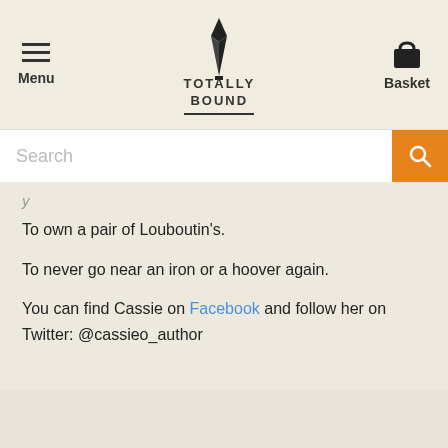Menu | TOTALLY BOUND | Basket
Search
To own a pair of Louboutin's.

To never go near an iron or a hoover again.

You can find Cassie on Facebook and follow her on Twitter: @cassieo_author
Reviews (0)
▲ Click to toggle
There are no reviews for this title yet, be the first to write one.